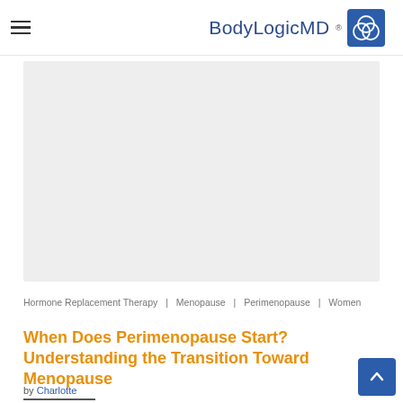BodyLogicMD
[Figure (photo): Light gray rectangular hero image placeholder for article header photo]
Hormone Replacement Therapy | Menopause | Perimenopause | Women
When Does Perimenopause Start? Understanding the Transition Toward Menopause
by Charlotte